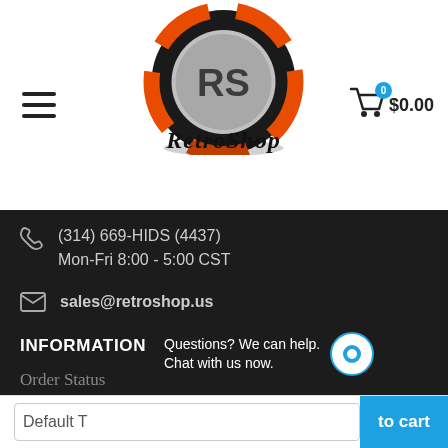[Figure (logo): RetroShop logo: a poker chip styled emblem with orange and black colors and an 'RS' monogram, above the stylized cursive text 'RetroShop']
(314) 669-HIDS (4437)
Mon-Fri 8:00 - 5:00 CST
sales@retroshop.us
INFORMATION
Order Status
Search
Questions? We can help.
Chat with us now.
Default T
to cart